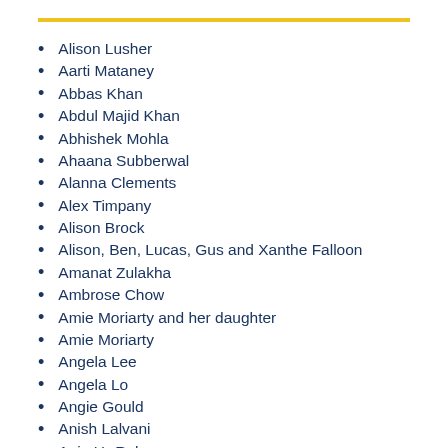Alison Lusher
Aarti Mataney
Abbas Khan
Abdul Majid Khan
Abhishek Mohla
Ahaana Subberwal
Alanna Clements
Alex Timpany
Alison Brock
Alison, Ben, Lucas, Gus and Xanthe Falloon
Amanat Zulakha
Ambrose Chow
Amie Moriarty and her daughter
Amie Moriarty
Angela Lee
Angela Lo
Angie Gould
Anish Lalvani
Anis-Ur-Rehman